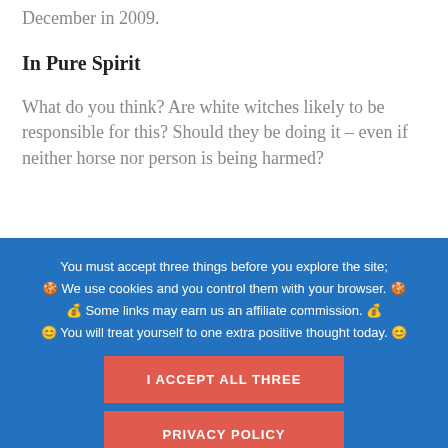December in 2009.
In Pure Spirit
What do you think? Are white witches likely to be responsible for this? Should they be doing it – even if neither horse nor person is being harmed?
You must accept three things before you explore the site;
🍪 We use cookies and you control them with your browser. 🍪
💰 Some links may earn us an affiliate commission. 💰
😊 You will treat yourself to one extra positive thought today. 😊
I ACCEPT ALL THREE
PRIVACY POLICY